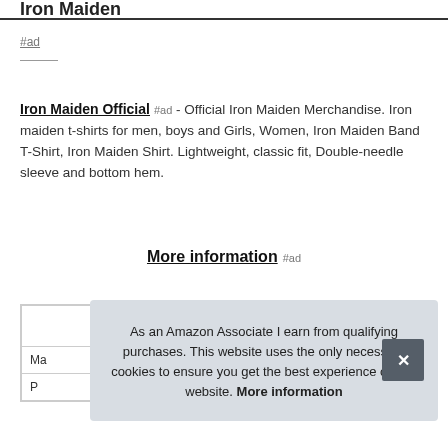Iron Maiden
#ad
Iron Maiden Official #ad - Official Iron Maiden Merchandise. Iron maiden t-shirts for men, boys and Girls, Women, Iron Maiden Band T-Shirt, Iron Maiden Shirt. Lightweight, classic fit, Double-needle sleeve and bottom hem.
More information #ad
| Ma |  |
| P |  |
As an Amazon Associate I earn from qualifying purchases. This website uses the only necessary cookies to ensure you get the best experience on our website. More information